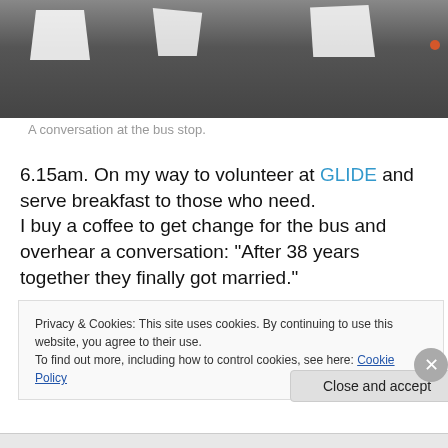[Figure (photo): A close-up photo of road pavement markings (white painted letters/shapes on dark asphalt). An orange object is visible at the far right edge.]
A conversation at the bus stop.
6.15am. On my way to volunteer at GLIDE and serve breakfast to those who need.
I buy a coffee to get change for the bus and overhear a conversation: “After 38 years together they finally got married.”
Privacy & Cookies: This site uses cookies. By continuing to use this website, you agree to their use.
To find out more, including how to control cookies, see here: Cookie Policy
Close and accept